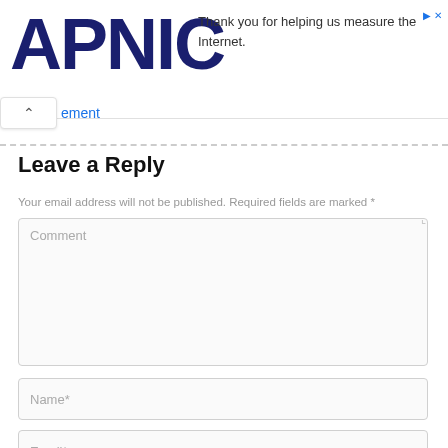APNIC — Thank you for helping us measure the Internet.
ement
Leave a Reply
Your email address will not be published. Required fields are marked *
Comment
Name*
Email*